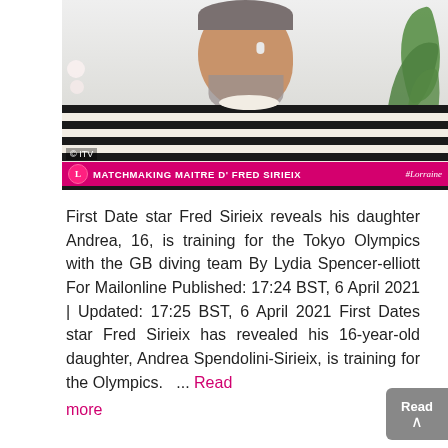[Figure (screenshot): Screenshot of a TV broadcast on ITV showing a man with a salt-and-pepper beard wearing a striped black-and-white sweater, appearing on video call. A pink banner across the bottom reads 'MATCHMAKING MAITRE D' FRED SIRIEIX' with the Lorraine show logo and '#Lorraine' hashtag.]
First Date star Fred Sirieix reveals his daughter Andrea, 16, is training for the Tokyo Olympics with the GB diving team By Lydia Spencer-elliott For Mailonline Published: 17:24 BST, 6 April 2021 | Updated: 17:25 BST, 6 April 2021 First Dates star Fred Sirieix has revealed his 16-year-old daughter, Andrea Spendolini-Sirieix, is training for the Olympics.  ... Read more